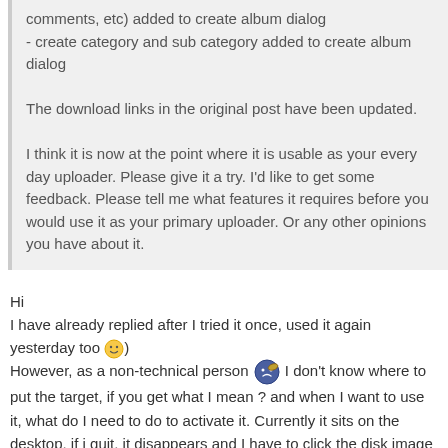comments, etc) added to create album dialog
- create category and sub category added to create album dialog

The download links in the original post have been updated.

I think it is now at the point where it is usable as your every day uploader. Please give it a try. I'd like to get some feedback. Please tell me what features it requires before you would use it as your primary uploader. Or any other opinions you have about it.
Hi
I have already replied after I tried it once, used it again yesterday too :)
However, as a non-technical person I don't know where to put the target, if you get what I mean ? and when I want to use it, what do I need to do to activate it. Currently it sits on the desktop, if i quit, it disappears and I have to click the disk image again. Maybe there are others like me who would